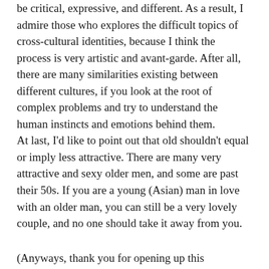be critical, expressive, and different. As a result, I admire those who explores the difficult topics of cross-cultural identities, because I think the process is very artistic and avant-garde. After all, there are many similarities existing between different cultures, if you look at the root of complex problems and try to understand the human instincts and emotions behind them. At last, I'd like to point out that old shouldn't equal or imply less attractive. There are many very attractive and sexy older men, and some are past their 50s. If you are a young (Asian) man in love with an older man, you can still be a very lovely couple, and no one should take it away from you.
(Anyways, thank you for opening up this